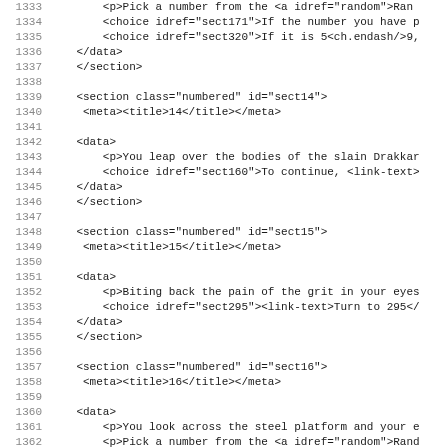Code listing showing XML source lines 1333–1364+
1333    <p>Pick a number from the <a idref="random">Ran...
1334        <choice idref="sect171">If the number you have p
1335        <choice idref="sect320">If it is 5<ch.endash/>9,
1336    </data>
1337    </section>
1338
1339    <section class="numbered" id="sect14">
1340     <meta><title>14</title></meta>
1341
1342    <data>
1343        <p>You leap over the bodies of the slain Drakkar
1344        <choice idref="sect160">To continue, <link-text>
1345    </data>
1346    </section>
1347
1348    <section class="numbered" id="sect15">
1349     <meta><title>15</title></meta>
1350
1351    <data>
1352        <p>Biting back the pain of the grit in your eyes
1353        <choice idref="sect295"><link-text>Turn to 295</
1354    </data>
1355    </section>
1356
1357    <section class="numbered" id="sect16">
1358     <meta><title>16</title></meta>
1359
1360    <data>
1361        <p>You look across the steel platform and your e
1362        <p>Pick a number from the <a idref="random">Rand
1363        <choice idref="sect104">If the number you have p
1364        <choice idref="sect231">If it is 5 or higher, <l
1365    </data>